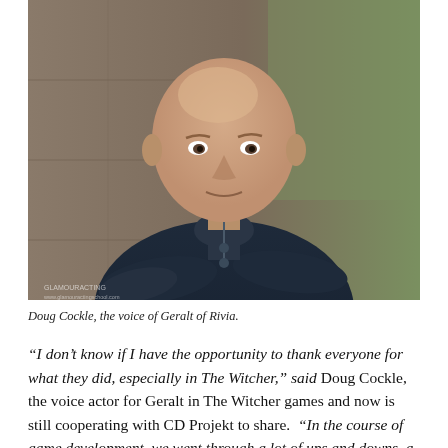[Figure (photo): Portrait photograph of Doug Cockle, a middle-aged bald man with arms crossed, wearing a dark navy cable-knit sweater, leaning against a stone wall with blurred green background.]
Doug Cockle, the voice of Geralt of Rivia.
“I don’t know if I have the opportunity to thank everyone for what they did, especially in The Witcher,” said Doug Cockle, the voice actor for Geralt in The Witcher games and now is still cooperating with CD Projekt to share. “In the course of game development, we went through a lot of ups and downs, a lot of emotions, and many of them are no longer staying